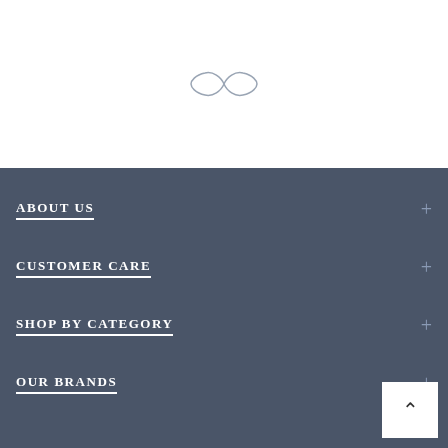[Figure (logo): Infinity symbol logo drawn in thin gray lines on white background]
ABOUT US
CUSTOMER CARE
SHOP BY CATEGORY
OUR BRANDS